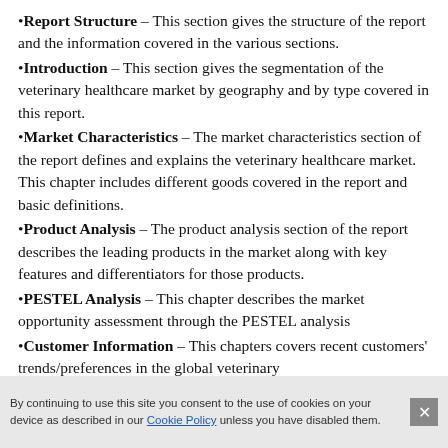•Report Structure – This section gives the structure of the report and the information covered in the various sections.
•Introduction – This section gives the segmentation of the veterinary healthcare market by geography and by type covered in this report.
•Market Characteristics – The market characteristics section of the report defines and explains the veterinary healthcare market. This chapter includes different goods covered in the report and basic definitions.
•Product Analysis – The product analysis section of the report describes the leading products in the market along with key features and differentiators for those products.
•PESTEL Analysis – This chapter describes the market opportunity assessment through the PESTEL analysis
•Customer Information – This chapters covers recent customers' trends/preferences in the global veterinary healthcare market.
By continuing to use this site you consent to the use of cookies on your device as described in our Cookie Policy unless you have disabled them.